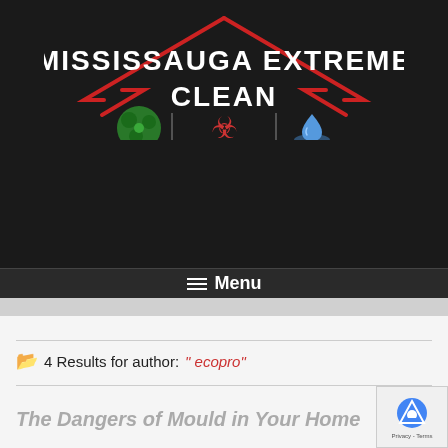[Figure (logo): Mississauga Extreme Clean logo with house outline in red, company name in white bold text, and three icons: green mold circle, red biohazard symbol, blue water drop]
≡  Menu
4 Results for author:  " ecopro"
The Dangers of Mould in Your Home